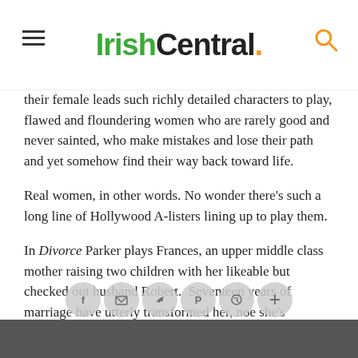IrishCentral.
their female leads such richly detailed characters to play, flawed and floundering women who are rarely good and never sainted, who make mistakes and lose their path and yet somehow find their way back toward life.
Real women, in other words. No wonder there's such a long line of Hollywood A-listers lining up to play them.
In Divorce Parker plays Frances, an upper middle class mother raising two children with her likeable but checked out husband Robert.  Seventeen years of marriage have utterly transformed her, noe she's panicking that's she lost touch with who she was or what she wanted. "I want to save my life while I still care about it," she tells her stunned husband.
But divorce isn't as clean and tidy and k everything that